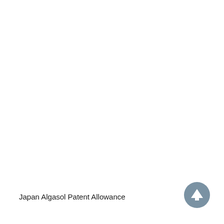Japan Algasol Patent Allowance